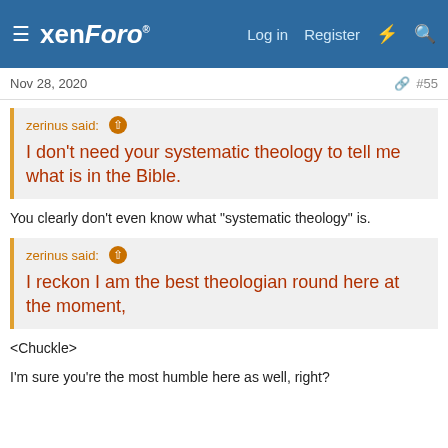xenForo — Log in  Register
Nov 28, 2020  #55
zerinus said: ↑
I don't need your systematic theology to tell me what is in the Bible.
You clearly don't even know what "systematic theology" is.
zerinus said: ↑
I reckon I am the best theologian round here at the moment,
<Chuckle>
I'm sure you're the most humble here as well, right?